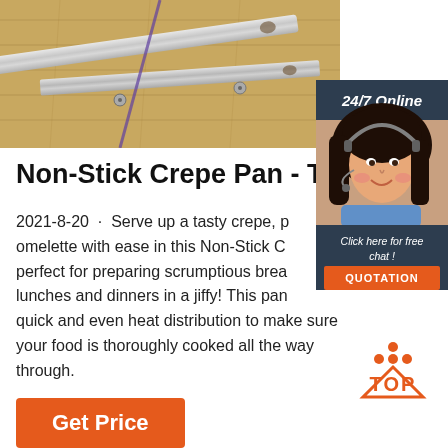[Figure (photo): Photo of metal strips/spatulas on a wooden surface, product image for a crepe pan tool]
[Figure (photo): 24/7 Online chat widget with a female customer service agent wearing a headset, dark navy background, with 'Click here for free chat!' text and an orange QUOTATION button]
Non-Stick Crepe Pan - The Ra
2021-8-20 · Serve up a tasty crepe, p... omelette with ease in this Non-Stick C... perfect for preparing scrumptious brea... lunches and dinners in a jiffy! This pan... quick and even heat distribution to make sure your food is thoroughly cooked all the way through.
[Figure (other): Orange TOP button with triangle/dots arrow pointing up]
Get Price